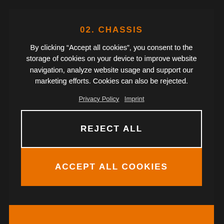02. CHASSIS
By clicking “Accept all cookies”, you consent to the storage of cookies on your device to improve website navigation, analyze website usage and support our marketing efforts. Cookies can also be rejected.
Privacy Policy  Imprint
REJECT ALL
ACCEPT ALL COOKIES